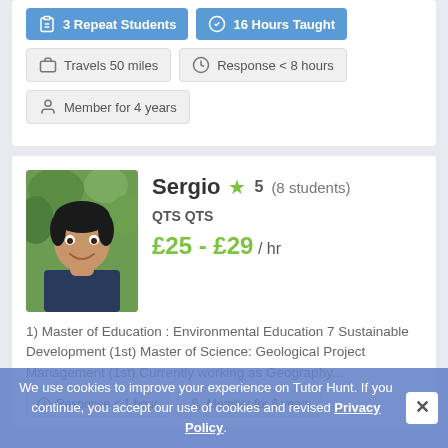3 Repeat Students
16 Hours Taught
Travels 50 miles
Response < 8 hours
Member for 4 years
Sergio  ★ 5 (8 students)
QTS QTS
£25 - £29 / hr
[Figure (photo): Profile photo of tutor Sergio – a young man smiling, outdoors with green foliage behind him]
1) Master of Education : Environmental Education 7 Sustainable Development (1st) Master of Science: Geological Project Management (1st) Currently working as Geography...
Response < 1 hour    Member for 6 years
We use cookies to improve your experience on Tutor Hunt. If you continue, you accept our use of cookies and revised Privacy Policy.